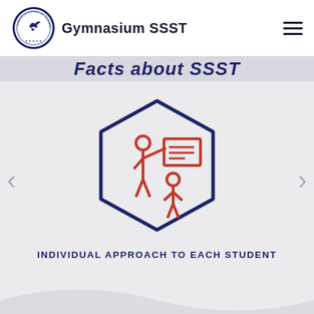Gymnasium SSST
Facts about SSST
[Figure (illustration): Hexagon icon with a teacher at a whiteboard and a student, rendered in dark red/crimson line art on a light grey background with a dark navy hexagon border.]
INDIVIDUAL APPROACH TO EACH STUDENT